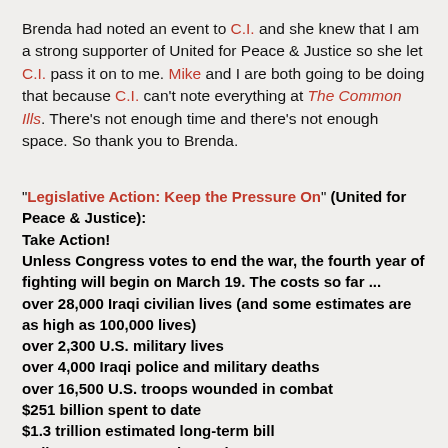Brenda had noted an event to C.I. and she knew that I am a strong supporter of United for Peace & Justice so she let C.I. pass it on to me. Mike and I are both going to be doing that because C.I. can't note everything at The Common Ills. There's not enough time and there's not enough space. So thank you to Brenda.
"Legislative Action: Keep the Pressure On" (United for Peace & Justice): Take Action! Unless Congress votes to end the war, the fourth year of fighting will begin on March 19. The costs so far ... over 28,000 Iraqi civilian lives (and some estimates are as high as 100,000 lives) over 2,300 U.S. military lives over 4,000 Iraqi police and military deaths over 16,500 U.S. troops wounded in combat $251 billion spent to date $1.3 trillion estimated long-term bill Call your Representative and Senators at 888-355-3588